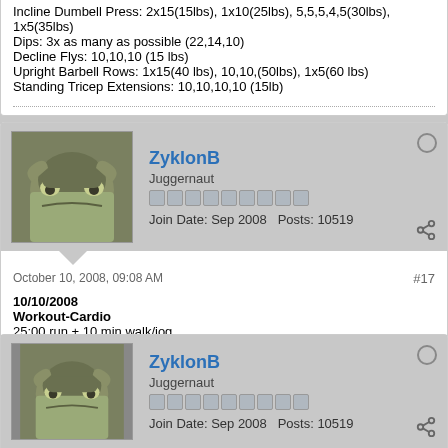Incline Dumbell Press: 2x15(15lbs), 1x10(25lbs), 5,5,5,4,5(30lbs), 1x5(35lbs)
Dips: 3x as many as possible (22,14,10)
Decline Flys: 10,10,10 (15 lbs)
Upright Barbell Rows: 1x15(40 lbs), 10,10,(50lbs), 1x5(60 lbs)
Standing Tricep Extensions: 10,10,10,10 (15lb)
ZyklonB
Juggernaut
Join Date: Sep 2008  Posts: 10519
October 10, 2008, 09:08 AM
#17
10/10/2008
Workout-Cardio
25:00 run + 10 min walk/jog
ZyklonB
Juggernaut
Join Date: Sep 2008  Posts: 10519